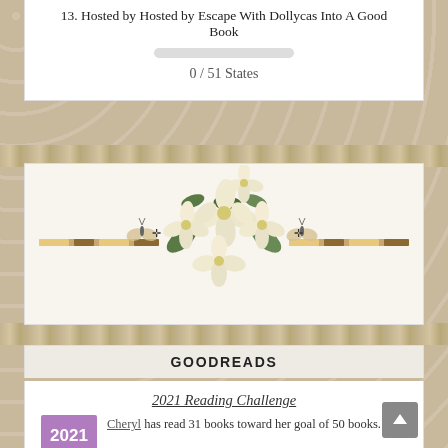13. Hosted by Hosted by Escape With Dollycas Into A Good Book
0 / 51 States
[Figure (illustration): Decorative floral illustration with white magnolia flowers and butterflies on a horizontal striped branch divider]
GOODREADS
2021 Reading Challenge
Cheryl has read 31 books toward her goal of 50 books.